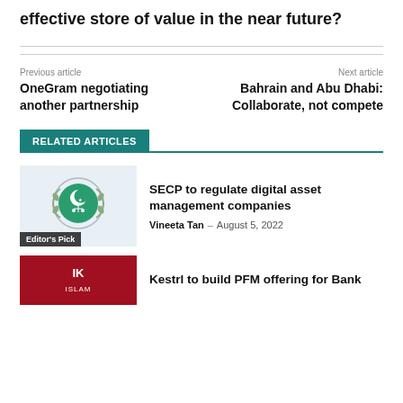effective store of value in the near future?
Previous article
OneGram negotiating another partnership
Next article
Bahrain and Abu Dhabi: Collaborate, not compete
RELATED ARTICLES
[Figure (logo): SECP seal/logo with green circular emblem and wreath, on light blue background]
SECP to regulate digital asset management companies
Vineeta Tan – August 5, 2022
[Figure (logo): IK Islam / bank logo, red background with text]
Kestrl to build PFM offering for Bank